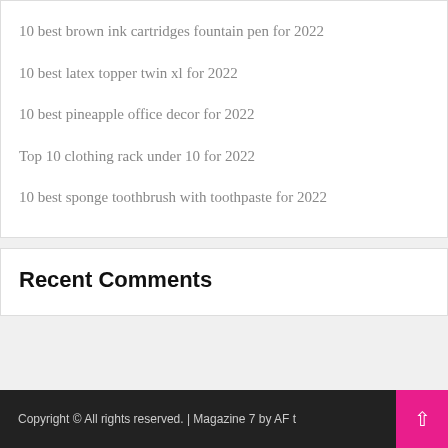10 best brown ink cartridges fountain pen for 2022
10 best latex topper twin xl for 2022
10 best pineapple office decor for 2022
Top 10 clothing rack under 10 for 2022
10 best sponge toothbrush with toothpaste for 2022
Recent Comments
Copyright © All rights reserved. | Magazine 7 by AF t